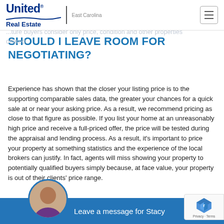United Real Estate East Carolina
but my house is worth so much more. ...should have no place in the pricing process. ...the specific value amount involved and what they can afford to... ...ture buyers consider only price, condition and other properties offered.
SHOULD I LEAVE ROOM FOR NEGOTIATING?
Experience has shown that the closer your listing price is to the supporting comparable sales data, the greater your chances for a quick sale at or near your asking price. As a result, we recommend pricing as close to that figure as possible. If you list your home at an unreasonably high price and receive a full-priced offer, the price will be tested during the appraisal and lending process. As a result, it's important to price your property at something statistics and the experience of the local brokers can justify. In fact, agents will miss showing your property to potentially qualified buyers simply because, at face value, your property is out of their clients' price range.
Leave a message for Stacy